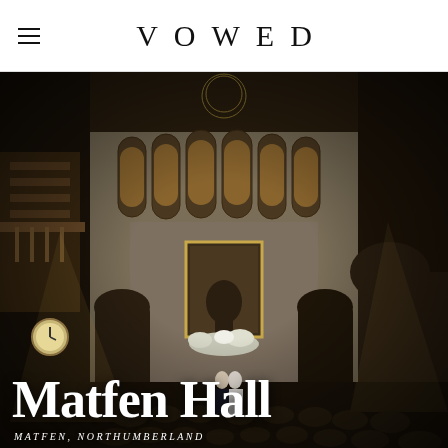VOWED
[Figure (photo): Interior of Matfen Hall showing a grand Gothic-style great hall with pointed arched windows, stone walls, wooden gallery staircase, chandelier, and a wedding ceremony in progress with guests seated and couple at the altar decorated with white floral arrangements]
Matfen Hall
MATFEN, NORTHUMBERLAND